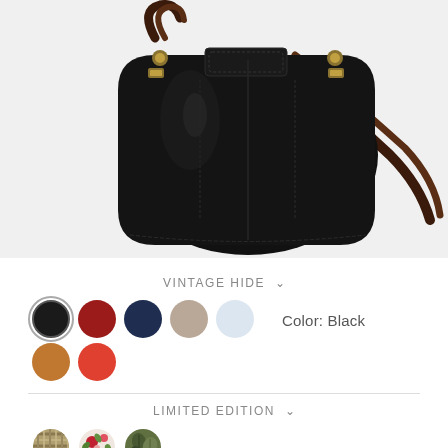[Figure (photo): A black leather handbag (small satchel/crossbody style) with gold-toned hardware, stitching detail, and a dark brown leather strap, displayed on a white/light gray background.]
VINTAGE HIDE ∨
[Figure (infographic): Color swatches row 1: Black (selected, with ring), Dark Red, Navy, Taupe, Light Blue. Row 2: Tan, Coral Red. Color label: Black]
Color: Black
LIMITED EDITION ∨
[Figure (infographic): Limited edition color swatches: Woven/basketweave tan, Floral print (pink/red flowers), Green floral print.]